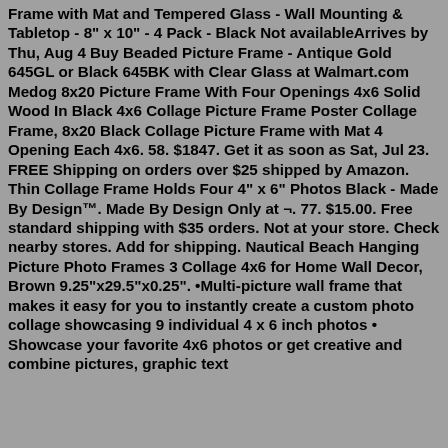Frame with Mat and Tempered Glass - Wall Mounting & Tabletop - 8" x 10" - 4 Pack - Black Not availableArrives by Thu, Aug 4 Buy Beaded Picture Frame - Antique Gold 645GL or Black 645BK with Clear Glass at Walmart.com Medog 8x20 Picture Frame With Four Openings 4x6 Solid Wood In Black 4x6 Collage Picture Frame Poster Collage Frame, 8x20 Black Collage Picture Frame with Mat 4 Opening Each 4x6. 58. $1847. Get it as soon as Sat, Jul 23. FREE Shipping on orders over $25 shipped by Amazon. Thin Collage Frame Holds Four 4" x 6" Photos Black - Made By Design™. Made By Design Only at ¬. 77. $15.00. Free standard shipping with $35 orders. Not at your store. Check nearby stores. Add for shipping. Nautical Beach Hanging Picture Photo Frames 3 Collage 4x6 for Home Wall Decor, Brown 9.25"x29.5"x0.25". •Multi-picture wall frame that makes it easy for you to instantly create a custom photo collage showcasing 9 individual 4 x 6 inch photos • Showcase your favorite 4x6 photos or get creative and combine pictures, graphic text